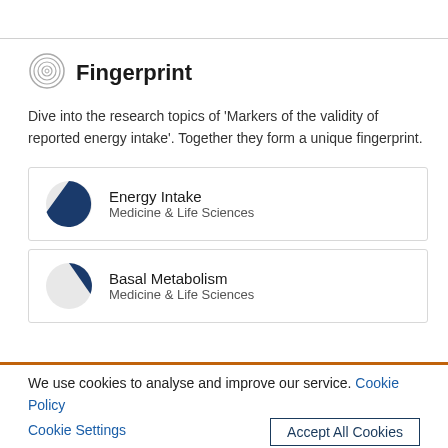Fingerprint
Dive into the research topics of 'Markers of the validity of reported energy intake'. Together they form a unique fingerprint.
Energy Intake — Medicine & Life Sciences
Basal Metabolism — Medicine & Life Sciences
We use cookies to analyse and improve our service. Cookie Policy